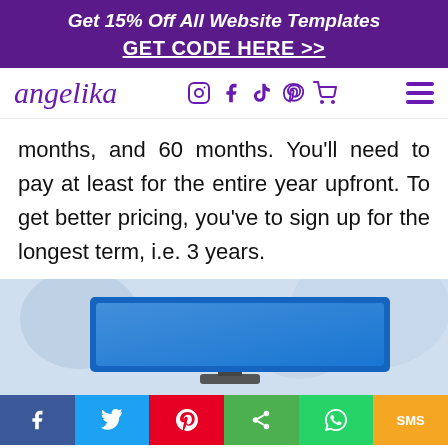Get 15% Off All Website Templates
GET CODE HERE >>
[Figure (screenshot): Website navigation bar with Angelika logo and social icons (Instagram, Facebook, TikTok, Pinterest, cart) and hamburger menu]
months, and 60 months. You'll need to pay at least for the entire year upfront. To get better pricing, you've to sign up for the longest term, i.e. 3 years.
[Figure (photo): Photo showing a blue monitor/computer screen on a desk with blurred background]
[Figure (infographic): Social share bar at bottom with Facebook, Twitter, Pinterest, Share, WhatsApp, SMS buttons]